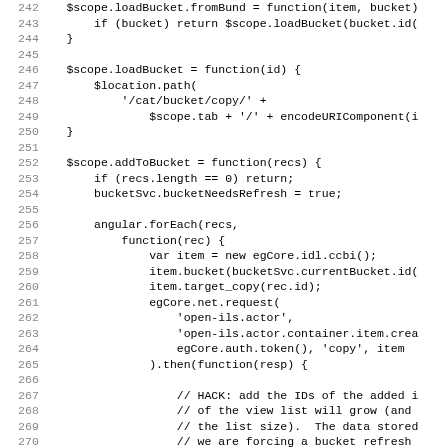[Figure (screenshot): Source code listing showing JavaScript/AngularJS code, lines 242-274, with line numbers on the left and code on the right in monospace font.]